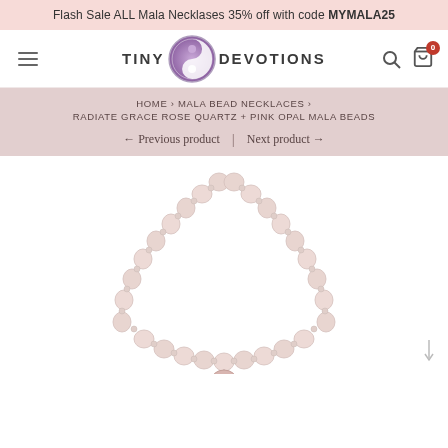Flash Sale ALL Mala Necklases 35% off with code MYMALA25
[Figure (logo): Tiny Devotions logo with hamburger menu, circular purple yin-yang logo emblem between TINY and DEVOTIONS text, search icon, and cart icon with 0 badge]
HOME › MALA BEAD NECKLACES › RADIATE GRACE ROSE QUARTZ + PINK OPAL MALA BEADS
← Previous product | Next product →
[Figure (photo): Rose quartz and pink opal mala bead necklace displayed in a V shape on white background, with pale pink round beads and a pendant at the bottom]